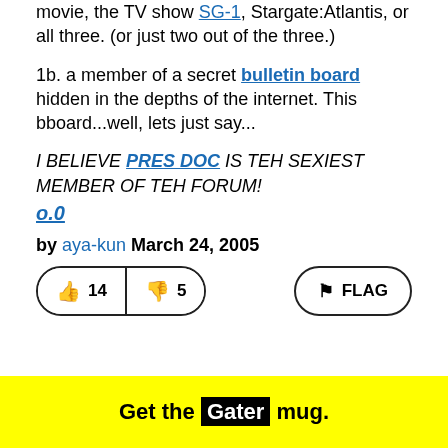movie, the TV show SG-1, Stargate:Atlantis, or all three. (or just two out of the three.)
1b. a member of a secret bulletin board hidden in the depths of the internet. This bboard...well, lets just say...
I BELIEVE PRES DOC IS TEH SEXIEST MEMBER OF TEH FORUM!
o.0
by aya-kun March 24, 2005
14 | 5  FLAG
Get the Gater mug.